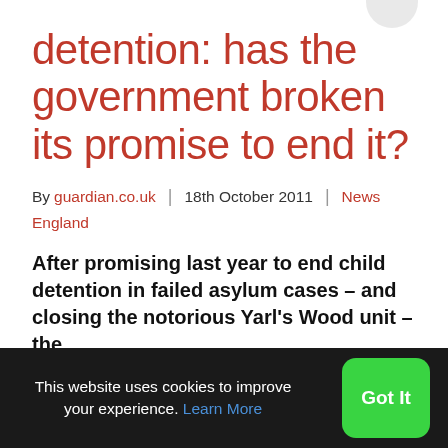detention: has the government broken its promise to end it?
By guardian.co.uk | 18th October 2011 | News England
After promising last year to end child detention in failed asylum cases – and closing the notorious Yarl's Wood unit – the
This website uses cookies to improve your experience. Learn More